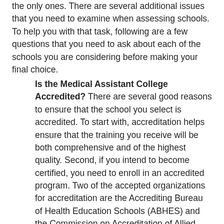the only ones. There are several additional issues that you need to examine when assessing schools. To help you with that task, following are a few questions that you need to ask about each of the schools you are considering before making your final choice.
Is the Medical Assistant College Accredited? There are several good reasons to ensure that the school you select is accredited. To start with, accreditation helps ensure that the training you receive will be both comprehensive and of the highest quality. Second, if you intend to become certified, you need to enroll in an accredited program. Two of the accepted organizations for accreditation are the Accrediting Bureau of Health Education Schools (ABHES) and the Commission on Accreditation of Allied Health Education Programs (CAAHEP). If your program is not accredited by either of these agencies, you will not be qualified to take the CMA exam. Additionally, if you plan on obtaining a student